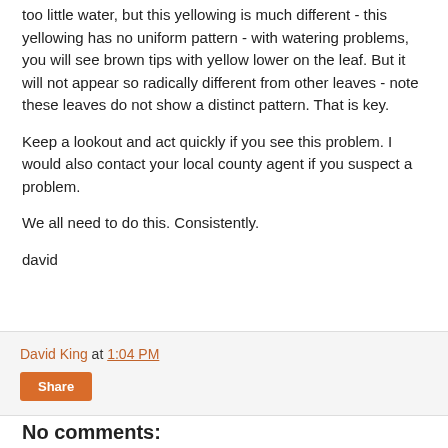too little water, but this yellowing is much different - this yellowing has no uniform pattern - with watering problems, you will see brown tips with yellow lower on the leaf. But it will not appear so radically different from other leaves - note these leaves do not show a distinct pattern. That is key.
Keep a lookout and act quickly if you see this problem. I would also contact your local county agent if you suspect a problem.
We all need to do this. Consistently.
david
David King at 1:04 PM
Share
No comments: